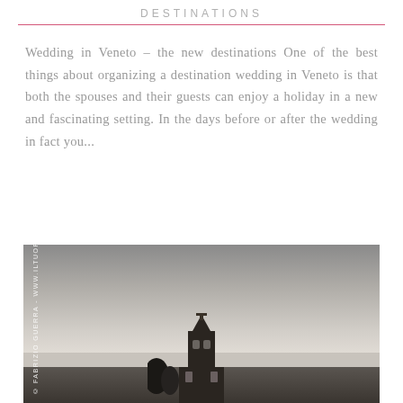DESTINATIONS
Wedding in Veneto – the new destinations One of the best things about organizing a destination wedding in Veneto is that both the spouses and their guests can enjoy a holiday in a new and fascinating setting. In the days before or after the wedding in fact you...
[Figure (photo): Black and white photograph of a church tower/steeple silhouette against a cloudy grey sky, with trees visible at the bottom left. Watermark reads: © Fabrizio Guerra - www.iltuof]